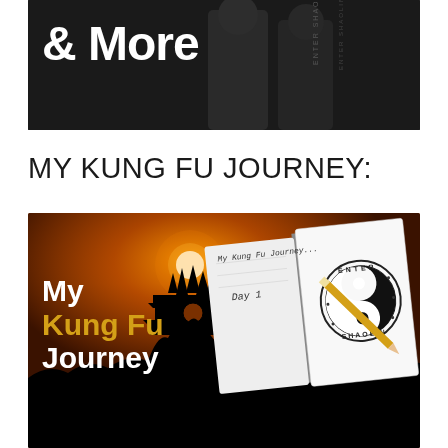[Figure (photo): Two people in black martial arts clothing standing together, with text '& More' visible in bold white font on the left side. Dark background.]
MY KUNG FU JOURNEY:
[Figure (photo): Promotional image for 'My Kung Fu Journey' series. Shows silhouette of a pagoda/temple against a warm orange sunset. Text on left reads 'My Kung Fu Journey' with 'Kung Fu' in gold/yellow and 'My' and 'Journey' in white. Center shows an open notebook with handwritten text 'My Kung Fu Journey... Day 1' and an Enter Shaolin yin-yang logo stamp on the right page, with a pencil resting on the notebook.]